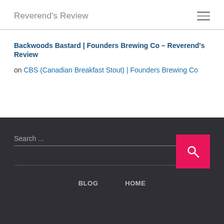Reverend's Review
Backwoods Bastard | Founders Brewing Co – Reverend's Review
on CBS (Canadian Breakfast Stout) | Founders Brewing Co
Search ...
BLOG  HOME